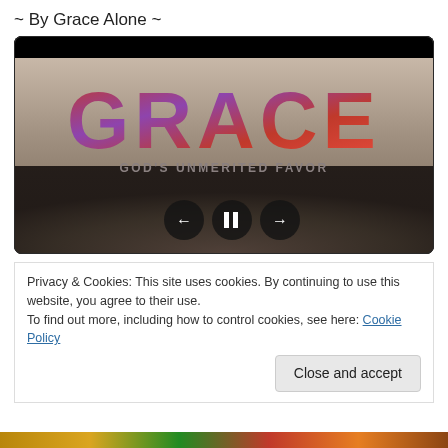~ By Grace Alone ~
[Figure (screenshot): Video player showing a slide with large text 'GRACE' in red/purple gradient and subtitle 'GOD'S UNMERITED FAVOR', with playback controls (back, pause, forward) at the bottom, set against a sepia crowd background.]
Privacy & Cookies: This site uses cookies. By continuing to use this website, you agree to their use.
To find out more, including how to control cookies, see here: Cookie Policy
Close and accept